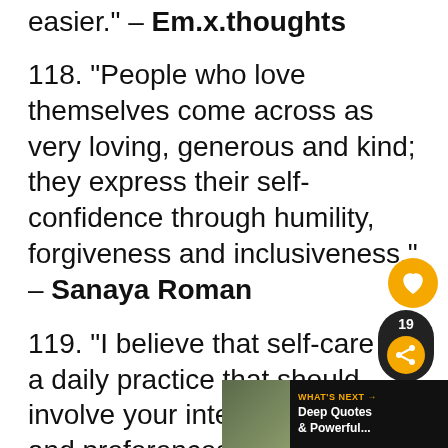easier." – Em.x.thoughts
118. “People who love themselves come across as very loving, generous and kind; they express their self-confidence through humility, forgiveness and inclusiveness.” – Sanaya Roman
119. “I believe that self-care is a daily practice that should involve your interests, needs and preferences. And it should have room to evolve over time.” – Portia Jackson-